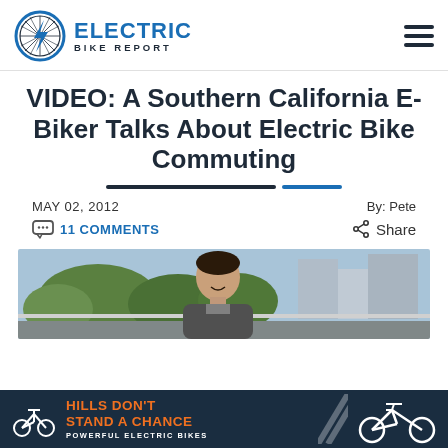Electric Bike Report
VIDEO: A Southern California E-Biker Talks About Electric Bike Commuting
MAY 02, 2012
By: Pete
11 COMMENTS
Share
[Figure (photo): A smiling man outdoors in an urban setting with trees and buildings in the background]
HILLS DON'T STAND A CHANCE POWERFUL ELECTRIC BIKES